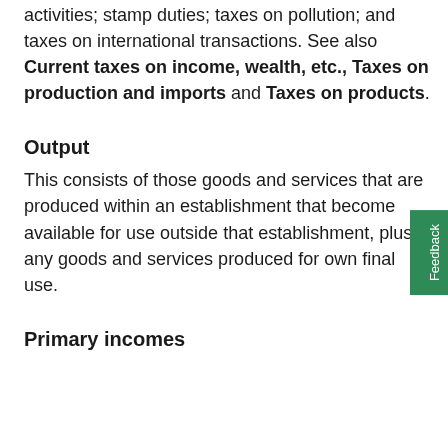activities; stamp duties; taxes on pollution; and taxes on international transactions. See also Current taxes on income, wealth, etc., Taxes on production and imports and Taxes on products.
Output
This consists of those goods and services that are produced within an establishment that become available for use outside that establishment, plus any goods and services produced for own final use.
Primary incomes